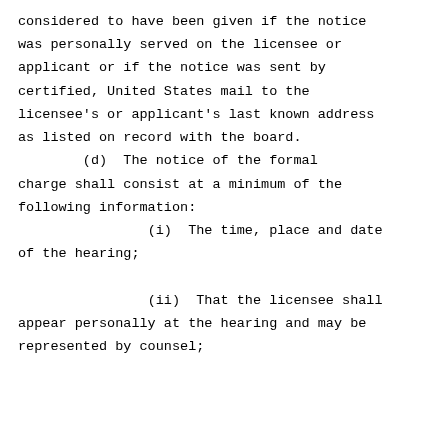considered to have been given if the notice was personally served on the licensee or applicant or if the notice was sent by certified, United States mail to the licensee's or applicant's last known address as listed on record with the board.
        (d)  The notice of the formal charge shall consist at a minimum of the following information:
                (i)  The time, place and date of the hearing;
                (ii)  That the licensee shall appear personally at the hearing and may be represented by counsel;